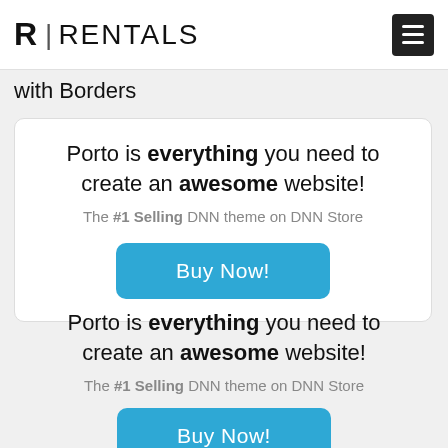R|RENTALS
with Borders
Porto is everything you need to create an awesome website! The #1 Selling DNN theme on DNN Store
Buy Now!
Porto is everything you need to create an awesome website! The #1 Selling DNN theme on DNN Store
Buy Now!